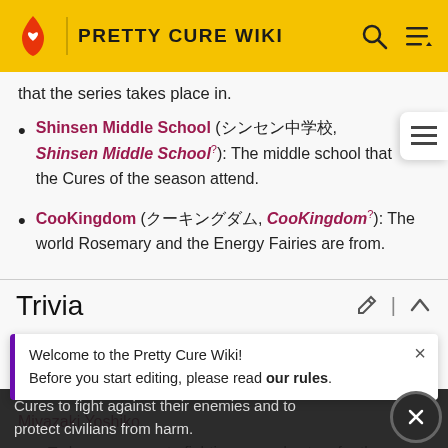PRETTY CURE WIKI
that the series takes place in.
Shinsen Middle School (シンセン中学校, Shinsen Middle School?): The middle school that the Cures of the season attend.
CooKingdom (クーキングダム, CooKingdom?): The world Rosemary and the Energy Fairies are from.
Trivia
Welcome to the Pretty Cure Wiki!
Before you start editing, please read our rules.
Miyazaki Yoshiko.
To have a separate fighting ground set up for the Cures to fight against their enemies and to protect civilians from harm.